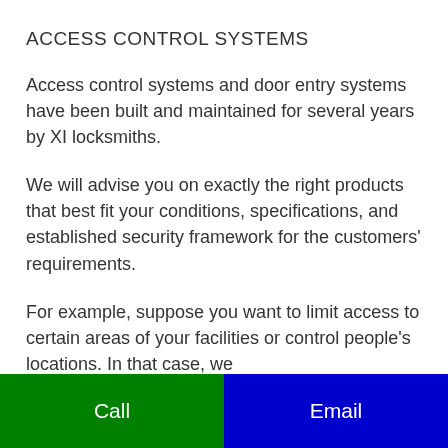ACCESS CONTROL SYSTEMS
Access control systems and door entry systems have been built and maintained for several years by XI locksmiths.
We will advise you on exactly the right products that best fit your conditions, specifications, and established security framework for the customers' requirements.
For example, suppose you want to limit access to certain areas of your facilities or control people's locations. In that case, we
Call    Email